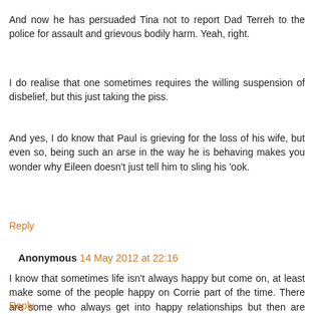And now he has persuaded Tina not to report Dad Terreh to the police for assault and grievous bodily harm. Yeah, right.
I do realise that one sometimes requires the willing suspension of disbelief, but this just taking the piss.
And yes, I do know that Paul is grieving for the loss of his wife, but even so, being such an arse in the way he is behaving makes you wonder why Eileen doesn't just tell him to sling his 'ook.
Reply
Anonymous 14 May 2012 at 22:16
I know that sometimes life isn't always happy but come on, at least make some of the people happy on Corrie part of the time. There are some who always get into happy relationships but then are some would deserve one for a change, don't get one.
Reply